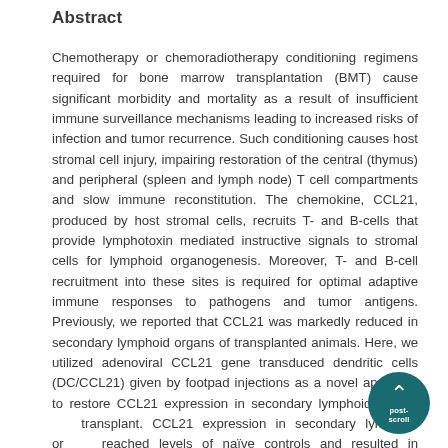Abstract
Chemotherapy or chemoradiotherapy conditioning regimens required for bone marrow transplantation (BMT) cause significant morbidity and mortality as a result of insufficient immune surveillance mechanisms leading to increased risks of infection and tumor recurrence. Such conditioning causes host stromal cell injury, impairing restoration of the central (thymus) and peripheral (spleen and lymph node) T cell compartments and slow immune reconstitution. The chemokine, CCL21, produced by host stromal cells, recruits T- and B-cells that provide lymphotoxin mediated instructive signals to stromal cells for lymphoid organogenesis. Moreover, T- and B-cell recruitment into these sites is required for optimal adaptive immune responses to pathogens and tumor antigens. Previously, we reported that CCL21 was markedly reduced in secondary lymphoid organs of transplanted animals. Here, we utilized adenoviral CCL21 gene transduced dendritic cells (DC/CCL21) given by footpad injections as a novel approach to restore CCL21 expression in secondary lymphoid organs post-transplant. CCL21 expression in secondary lymphoid organs reached levels of naïve controls and resulted in increased T cell trafficking to draining lymph nodes (LNs). An increase in both